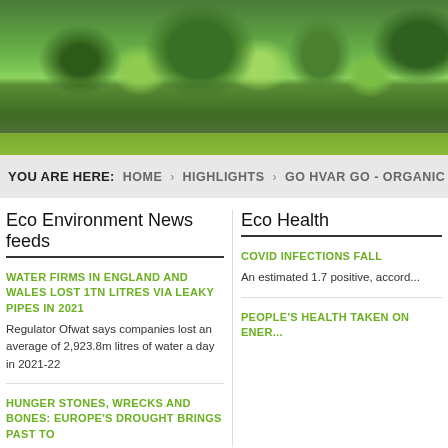[Figure (photo): Green forest/tree canopy header image with dense foliage in various shades of green, with a strip of bright green grass at the bottom]
YOU ARE HERE: HOME HIGHLIGHTS GO HVAR GO - ORGANIC
Eco Environment News feeds
WATER FIRMS IN ENGLAND AND WALES LOST 1TN LITRES VIA LEAKY PIPES IN 2021
Regulator Ofwat says companies lost an average of 2,923.8m litres of water a day in 2021-22
Eco Health
COVID INFECTIONS FALL
An estimated 1.7 positive, accord...
HUNGER STONES, WRECKS AND BONES: EUROPE'S DROUGHT BRINGS PAST TO
PEOPLE'S HEALTH TAKEN ON ENER...